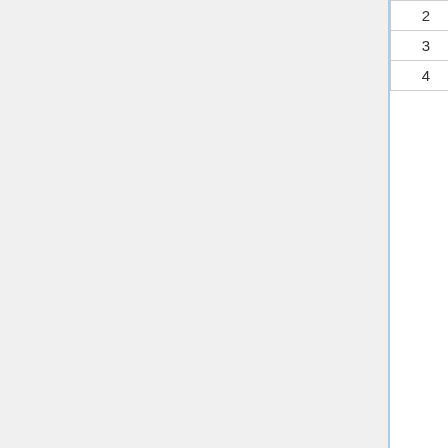|  | Team | GP | W | L | PCT | GB |
| --- | --- | --- | --- | --- | --- | --- |
| 2 | Calgary Roughnecks – x | 18 | 12 | 6 | .667 | 4.0 |
| 3 | Colorado Mammoth – x | 18 | 8 | 10 | .444 | 8.0 |
| 4 | Vancouver Stealth | 18 | 4 | 14 | .222 | 12. |
x: Clinched playoff berth; c: Clinched playoff berth by crossing over to another division; y: Clinched division; z: Clinched best regular season record; GP: Games Played W: Wins; L: Losses; GB: Games back; PCT: Win percentage; Home: Record at Home; Road: Record on the Road; GF: Goals scored; GA: Goals allowed Differential: Difference between goals scored and allowed; GF/GP: Average number of goals